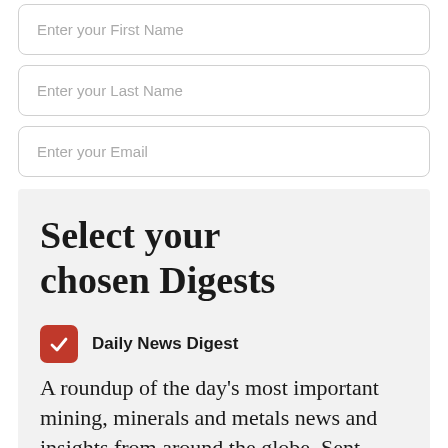Enter your First Name
Enter your Last Name
Enter your Email
Select your chosen Digests
Daily News Digest
A roundup of the day's most important mining, minerals and metals news and insights from around the globe. Sent